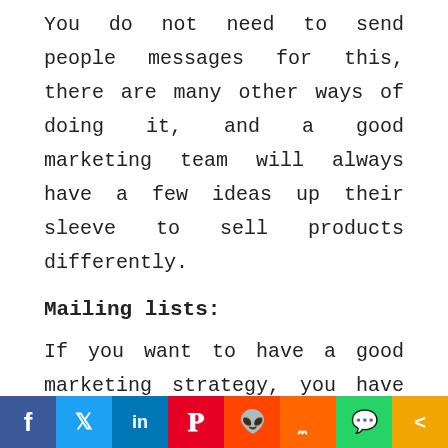You do not need to send people messages for this, there are many other ways of doing it, and a good marketing team will always have a few ideas up their sleeve to sell products differently.
Mailing lists:
If you want to have a good marketing strategy, you have to invest a little in getting a great mailing list that would be filled with people who are interested in buying your products and making things work out for you. A mailing list will instantly send emails to all the customers